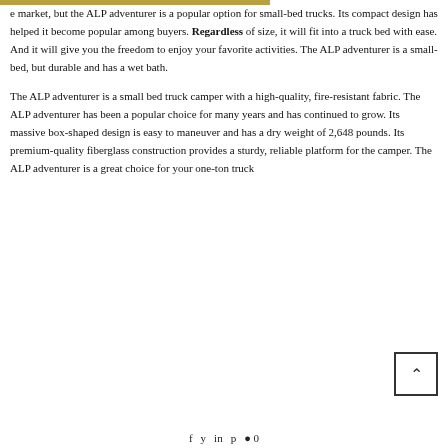e market, but the ALP adventurer is a popular option for small-bed trucks. Its compact design has helped it become popular among buyers. Regardless of size, it will fit into a truck bed with ease. And it will give you the freedom to enjoy your favorite activities. The ALP adventurer is a small-bed, but durable and has a wet bath.
The ALP adventurer is a small bed truck camper with a high-quality, fire-resistant fabric. The ALP adventurer has been a popular choice for many years and has continued to grow. Its massive box-shaped design is easy to maneuver and has a dry weight of 2,648 pounds. Its premium-quality fiberglass construction provides a sturdy, reliable platform for the camper. The ALP adventurer is a great choice for your one-ton truck